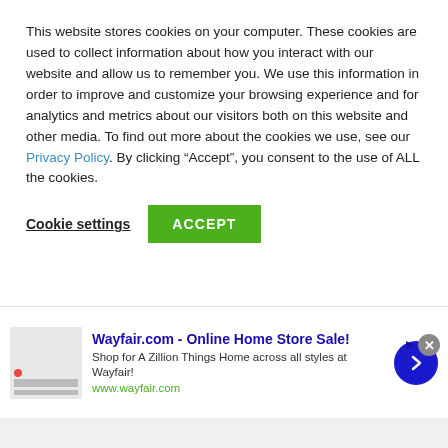This website stores cookies on your computer. These cookies are used to collect information about how you interact with our website and allow us to remember you. We use this information in order to improve and customize your browsing experience and for analytics and metrics about our visitors both on this website and other media. To find out more about the cookies we use, see our Privacy Policy. By clicking “Accept”, you consent to the use of ALL the cookies.
Cookie settings
ACCEPT
UP WITH SODA. GARNISH WITH A MINT SPRIG.
[Figure (other): Wayfair.com advertisement banner showing: 'Wayfair.com - Online Home Store Sale! Shop for A Zillion Things Home across all styles at Wayfair! www.wayfair.com' with a blue arrow button and close button]